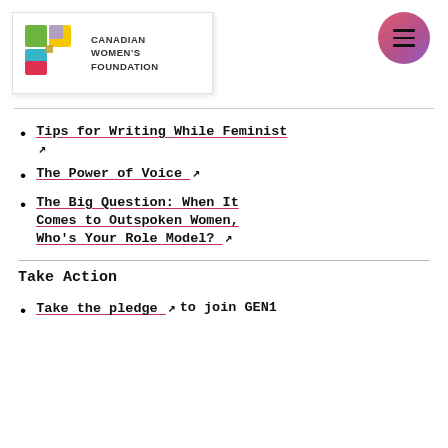[Figure (logo): Canadian Women's Foundation logo with colorful puzzle-piece shapes and organization name]
[Figure (other): Hamburger menu button circle with gradient pink-purple background]
Tips for Writing While Feminist [external link]
The Power of Voice [external link]
The Big Question: When It Comes to Outspoken Women, Who's Your Role Model? [external link]
Take Action
Take the pledge [external link] to join GEN1